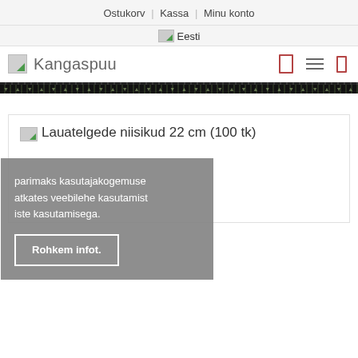Ostukorv | Kassa | Minu konto
Eesti
Kangaspuu
Lauatelgede niisikud 22 cm (100 tk)
parimaks kasutajakogemuse atkates veebilehe kasutamist iste kasutamisega.
Rohkem infot.